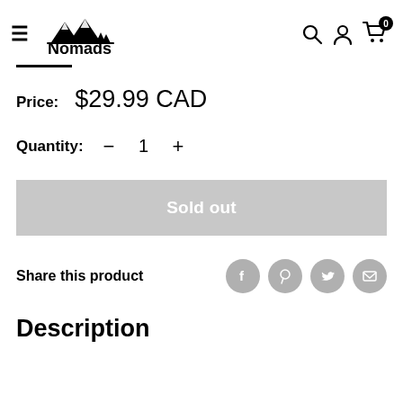Nomads — navigation header with menu, search, account, cart icons
Price: $29.99 CAD
Quantity: − 1 +
Sold out
Share this product
Description